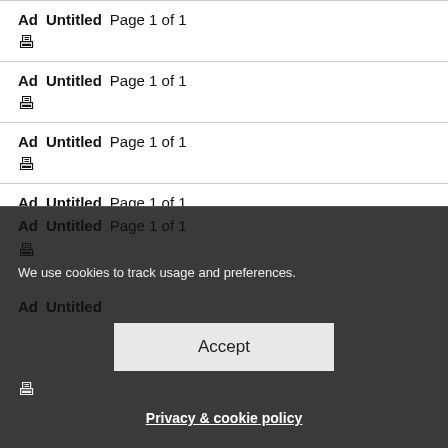Ad  Untitled  Page 1 of 1  🖨
Ad  Untitled  Page 1 of 1  🖨
Ad  Untitled  Page 1 of 1  🖨
Ad  Untitled  Page 1 of 1  🖨
Ad  Untitled  Page 1 of 1  🖨
Ad  Untitled  🖨
We use cookies to track usage and preferences.
Accept
Privacy & cookie policy